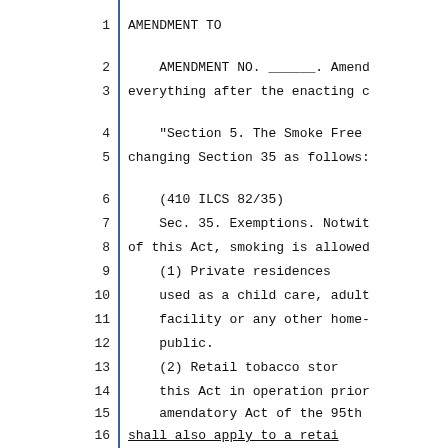1    AMENDMENT TO
2    AMENDMENT NO. ______. Amend
3    everything after the enacting c
4    "Section 5. The Smoke Free
5    changing Section 35 as follows:
6    (410 ILCS 82/35)
7    Sec. 35. Exemptions. Notwit
8    of this Act, smoking is allowed
9    (1) Private residences
10   used as a child care, adult
11   facility or any other home-
12   public.
13   (2) Retail tobacco stor
14   this Act in operation prior
15   amendatory Act of the 95th
16   shall also apply to a retai